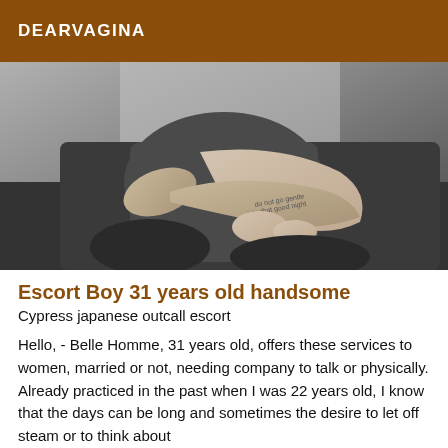DEARVAGINA
[Figure (photo): Black and white photo of a muscular man with a tattoo on his forearm, sitting with arms crossed on a dark couch, head/face not visible.]
Escort Boy 31 years old handsome
Cypress japanese outcall escort
Hello, - Belle Homme, 31 years old, offers these services to women, married or not, needing company to talk or physically. Already practiced in the past when I was 22 years old, I know that the days can be long and sometimes the desire to let off steam or to think about